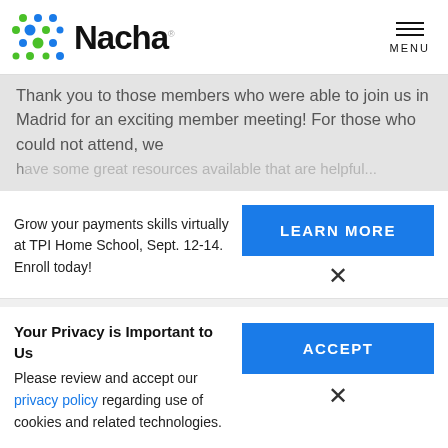Nacha MENU
Thank you to those members who were able to join us in Madrid for an exciting member meeting! For those who could not attend, we have some great resources available that are helpful...
Grow your payments skills virtually at TPI Home School, Sept. 12-14. Enroll today!
LEARN MORE
Your Privacy is Important to Us
Please review and accept our privacy policy regarding use of cookies and related technologies.
ACCEPT